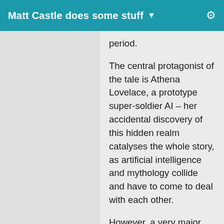Matt Castle does some stuff ▾
period.
The central protagonist of the tale is Athena Lovelace, a prototype super-soldier AI – her accidental discovery of this hidden realm catalyses the whole story, as artificial intelligence and mythology collide and have to come to deal with each other.
However, a very major character in the tale is Molly Baldwin, the daughter of one of Athena's former squadmates, as the Baldwin family represents Athena's